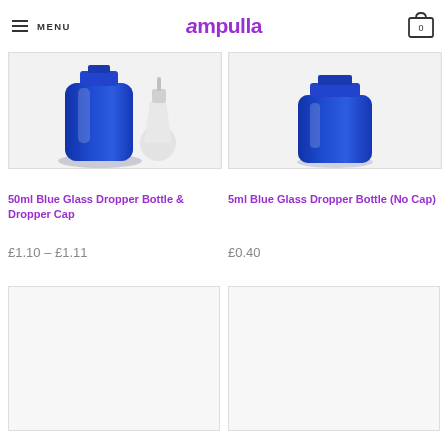MENU | Ampulla | Cart (0)
[Figure (photo): 50ml Blue Glass Dropper Bottle with white dropper cap on light grey background]
50ml Blue Glass Dropper Bottle & Dropper Cap
£1.10 – £1.11
[Figure (photo): 5ml Blue Glass Dropper Bottle (no cap) on light grey background]
5ml Blue Glass Dropper Bottle (No Cap)
£0.40
[Figure (photo): Product image placeholder - bottom left card, empty light background]
[Figure (photo): Product image placeholder - bottom right card, empty light background]